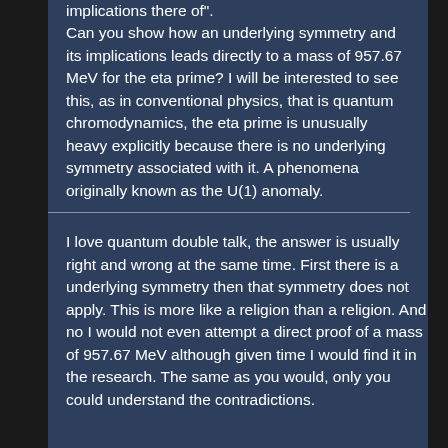implications there of". Can you show how an underlying symmetry and its implications leads directly to a mass of 957.67 MeV for the eta prime? I will be interested to see this, as in conventional physics, that is quantum chromodynamics, the eta prime is unusually heavy explicitly because there is no underlying symmetry associated with it. A phenomena originally known as the U(1) anomaly.
I love quantum double talk, the answer is usually right and wrong at the same time. First there is a underlying symmetry then that symmetry does not apply. This is more like a religion than a religion. And no I would not even attempt a direct proof of a mass of 957.67 MeV although given time I would find it in the research. The same as you would, only you could understand the contradictions.